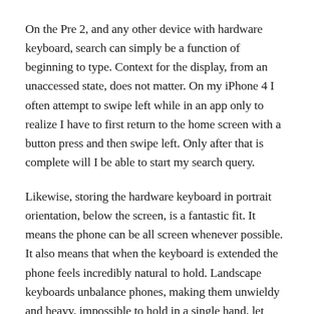On the Pre 2, and any other device with hardware keyboard, search can simply be a function of beginning to type. Context for the display, from an unaccessed state, does not matter. On my iPhone 4 I often attempt to swipe left while in an app only to realize I have to first return to the home screen with a button press and then swipe left. Only after that is complete will I be able to start my search query.
Likewise, storing the hardware keyboard in portrait orientation, below the screen, is a fantastic fit. It means the phone can be all screen whenever possible. It also means that when the keyboard is extended the phone feels incredibly natural to hold. Landscape keyboards unbalance phones, making them unwieldy and heavy, impossible to hold in a single hand, let alone type on with one.